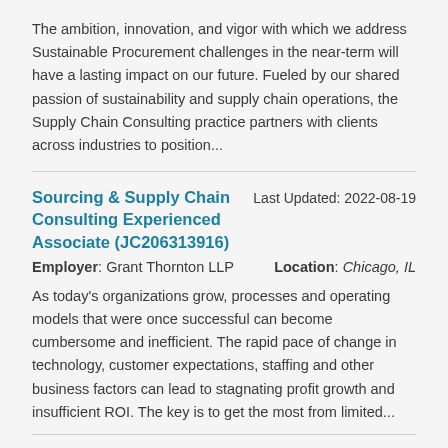The ambition, innovation, and vigor with which we address Sustainable Procurement challenges in the near-term will have a lasting impact on our future. Fueled by our shared passion of sustainability and supply chain operations, the Supply Chain Consulting practice partners with clients across industries to position...
Sourcing & Supply Chain Consulting Experienced Associate (JC206313916)
Last Updated: 2022-08-19
Employer: Grant Thornton LLP
Location: Chicago, IL
As today's organizations grow, processes and operating models that were once successful can become cumbersome and inefficient. The rapid pace of change in technology, customer expectations, staffing and other business factors can lead to stagnating profit growth and insufficient ROI. The key is to get the most from limited...
Sourcing & Supply Chain Senior Associate